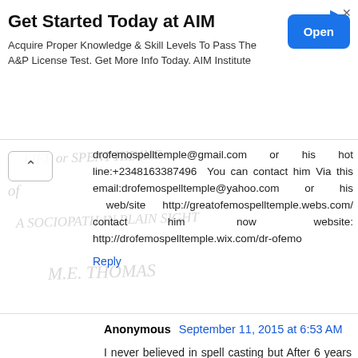[Figure (screenshot): Ad banner for AIM Institute with title 'Get Started Today at AIM', subtitle text, and blue Open button]
drofemospelltemple@gmail.com or his hot line:+2348163387496 You can contact him Via this email:drofemospelltemple@yahoo.com or his web/site http://greatofemospelltemple.webs.com/ contact him now website: http://drofemospelltemple.wix.com/dr-ofemo
Reply
Anonymous September 11, 2015 at 6:53 AM
I never believed in spell casting but After 6 years of dating my ex lover, I still imagine how Dr Ofemo brought my ex lover back to me in just 24 hour. No one could have ever made me believe that there is a real spell caster that really work. am Kate by name,I want to quickly tell the world that there is a real on line spell caster that is powerful and genuine. His name is Dr Ofemo. He helped me recently to